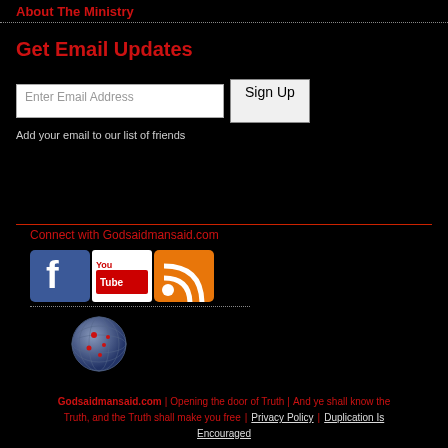About The Ministry
Get Email Updates
Enter Email Address  Sign Up
Add your email to our list of friends
Connect with Godsaidmansaid.com
[Figure (logo): Social media icons: Facebook, YouTube, RSS feed]
[Figure (illustration): Globe icon with red highlights]
Godsaidmansaid.com  |  Opening the door of Truth  |  And ye shall know the Truth, and the Truth shall make you free  |  Privacy Policy  |  Duplication Is Encouraged